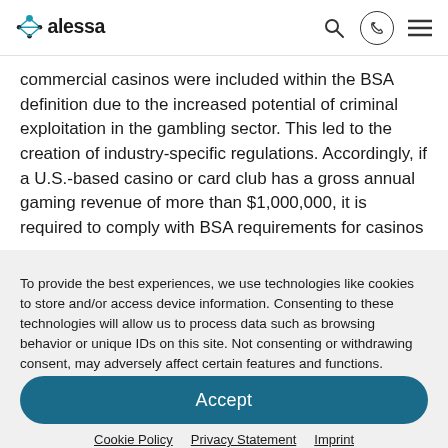[Figure (logo): Alessa logo with atom/molecule icon and company name]
commercial casinos were included within the BSA definition due to the increased potential of criminal exploitation in the gambling sector. This led to the creation of industry-specific regulations. Accordingly, if a U.S.-based casino or card club has a gross annual gaming revenue of more than $1,000,000, it is required to comply with BSA requirements for casinos
To provide the best experiences, we use technologies like cookies to store and/or access device information. Consenting to these technologies will allow us to process data such as browsing behavior or unique IDs on this site. Not consenting or withdrawing consent, may adversely affect certain features and functions.
Accept
Cookie Policy   Privacy Statement   Imprint